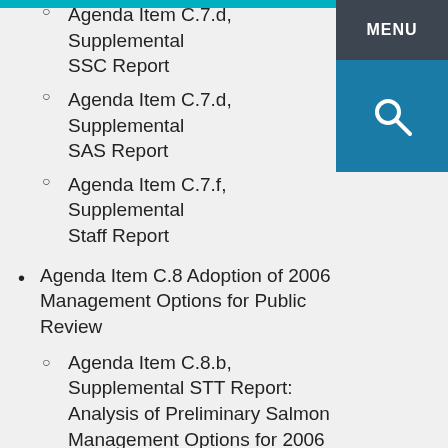Agenda Item C.7.d, Supplemental SSC Report
Agenda Item C.7.d, Supplemental SAS Report
Agenda Item C.7.f, Supplemental Staff Report
Agenda Item C.8 Adoption of 2006 Management Options for Public Review
Agenda Item C.8.b, Supplemental STT Report: Analysis of Preliminary Salmon Management Options for 2006 Ocean Fisheries
Agenda Item C.8.d, Supplemental Tribal Recommendations
Agenda Item C.8.e, Supplemental